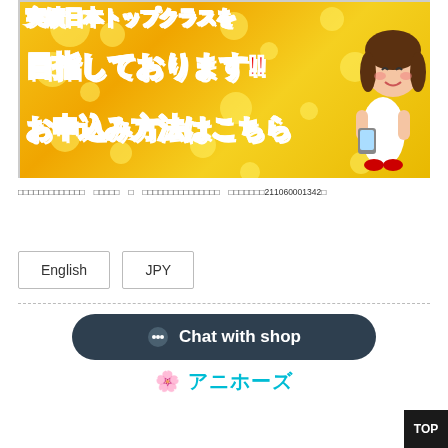[Figure (illustration): Japanese promotional banner with golden/yellow bubble background, large red Japanese text reading '目指しております!!' and 'お申込み方法はこちら', with a cartoon girl character on the right side holding a phone]
□□□□□□□□□□□□□　□□□□□　□　□□□□□□□□□□□□□□□　□□□□□□□211060001342□
English
JPY
[Figure (screenshot): Chat with shop button (dark teal rounded rectangle) and アニホーズ logo at bottom]